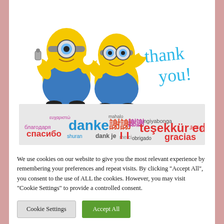[Figure (illustration): Two cartoon minion characters with 'thank you!' written in blue handwriting script to the right]
[Figure (infographic): Word cloud strip showing 'thank you' in many languages including danke, спасибо, teşekkür ederim, 謝謝, ngiyabonga, dank je, gracias and others in various colors (blue, red, green, pink, teal) on a light gray background]
We use cookies on our website to give you the most relevant experience by remembering your preferences and repeat visits. By clicking "Accept All", you consent to the use of ALL the cookies. However, you may visit "Cookie Settings" to provide a controlled consent.
Cookie Settings
Accept All